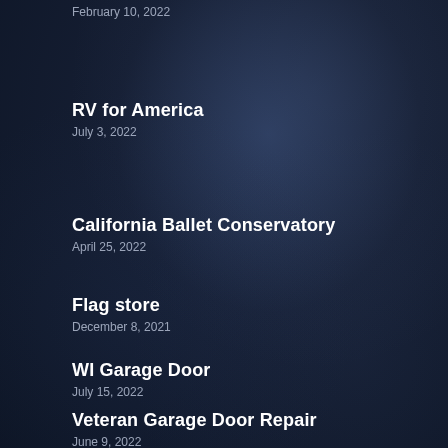February 10, 2022
RV for America
July 3, 2022
California Ballet Conservatory
April 25, 2022
Flag store
December 8, 2021
WI Garage Door
July 15, 2022
Veteran Garage Door Repair
June 9, 2022